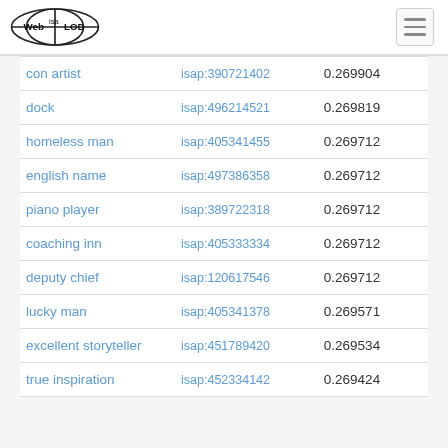Web isa LOD
| con artist | isap:390721402 | 0.269904 |
| dock | isap:496214521 | 0.269819 |
| homeless man | isap:405341455 | 0.269712 |
| english name | isap:497386358 | 0.269712 |
| piano player | isap:389722318 | 0.269712 |
| coaching inn | isap:405333334 | 0.269712 |
| deputy chief | isap:120617546 | 0.269712 |
| lucky man | isap:405341378 | 0.269571 |
| excellent storyteller | isap:451789420 | 0.269534 |
| true inspiration | isap:452334142 | 0.269424 |